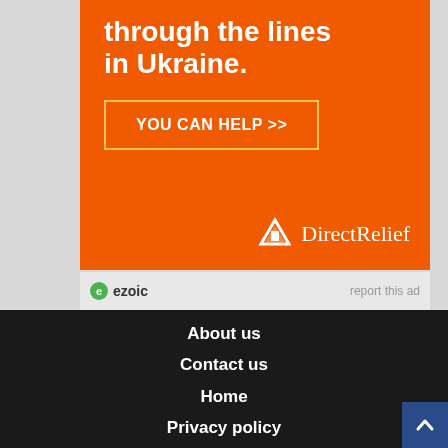[Figure (infographic): Orange Direct Relief advertisement banner with white bold text 'through the lines in Ukraine.' and a CTA button 'YOU CAN HELP >>' with Direct Relief logo at bottom right]
report this ad
About us
Contact us
Home
Privacy policy
[Figure (infographic): Bottom ad banner for Topgolf: 'The Perfect Family Activity' with Topgolf logo and navigation arrow]